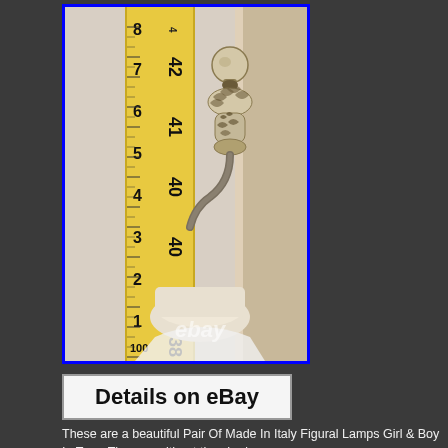[Figure (photo): Close-up photo of a decorative lamp finial with ornate carved details, next to a yellow measuring tape showing measurements from approximately 38 to 47 inches. An eBay watermark is visible at the bottom of the image.]
Details on eBay
These are a beautiful Pair Of Made In Italy Figural Lamps Girl & Boy In Tree. The one without the shade...